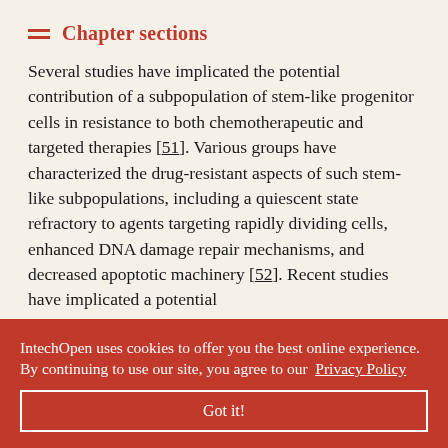Chapter sections
Several studies have implicated the potential contribution of a subpopulation of stem-like progenitor cells in resistance to both chemotherapeutic and targeted therapies [51]. Various groups have characterized the drug-resistant aspects of such stem-like subpopulations, including a quiescent state refractory to agents targeting rapidly dividing cells, enhanced DNA damage repair mechanisms, and decreased apoptotic machinery [52]. Recent studies have implicated a potential …ion and the …uding the …d enhanced …ole of EGFR …C has not
IntechOpen uses cookies to offer you the best online experience. By continuing to use our site, you agree to our Privacy Policy
Got it!